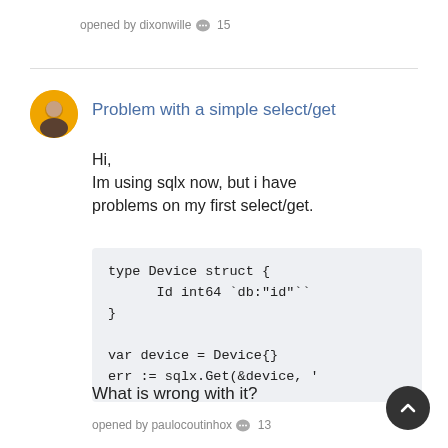opened by dixonwille 💬 15
Problem with a simple select/get
Hi,
Im using sqlx now, but i have problems on my first select/get.
type Device struct {
      Id int64 `db:"id"`
}

var device = Device{}
err := sqlx.Get(&device, '
What is wrong with it?
opened by paulocoutinhox 💬 13